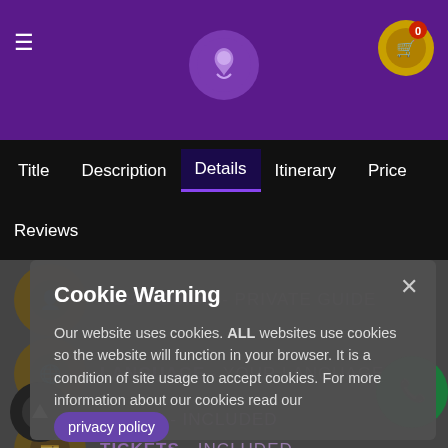[Figure (screenshot): Website header with purple background, hamburger menu icon on left, stylized unicorn/horse logo in center, shopping cart badge with '0' on right]
Title   Description   Details   Itinerary   Price   Reviews
TOUR GUIDE - PRIVATE GUIDE
LANGUAGE - YOUR LANGUAGE
TICKETS - INCLUDED
MEALS - INCLUDED
Cookie Warning
Our website uses cookies. ALL websites use cookies so the website will function in your browser. It is a condition of site usage to accept cookies. For more information about our cookies read our privacy policy
Accept   Deny